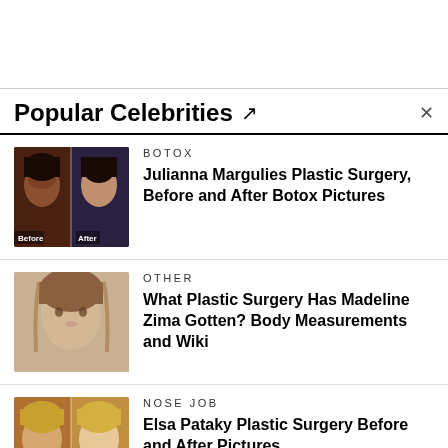Popular Celebrities ↗
[Figure (photo): Thumbnail showing before and after photos of Julianna Margulies]
BOTOX
Julianna Margulies Plastic Surgery, Before and After Botox Pictures
[Figure (photo): Thumbnail showing photo of Madeline Zima]
OTHER
What Plastic Surgery Has Madeline Zima Gotten? Body Measurements and Wiki
[Figure (photo): Thumbnail showing before and after photos of Elsa Pataky]
NOSE JOB
Elsa Pataky Plastic Surgery Before and After Pictures